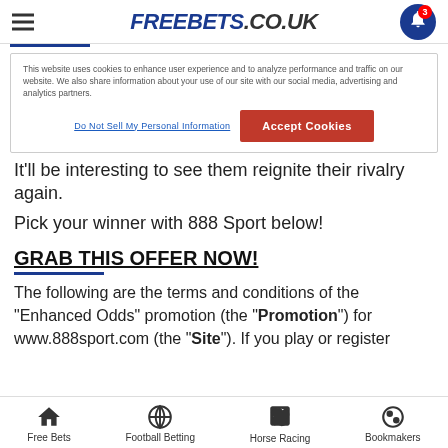FREEBETS.CO.UK
This website uses cookies to enhance user experience and to analyze performance and traffic on our website. We also share information about your use of our site with our social media, advertising and analytics partners.
Do Not Sell My Personal Information | Accept Cookies
It'll be interesting to see them reignite their rivalry again.
Pick your winner with 888 Sport below!
GRAB THIS OFFER NOW!
The following are the terms and conditions of the “Enhanced Odds” promotion (the “Promotion”) for www.888sport.com (the “Site”). If you play or register
Free Bets | Football Betting | Horse Racing | Bookmakers